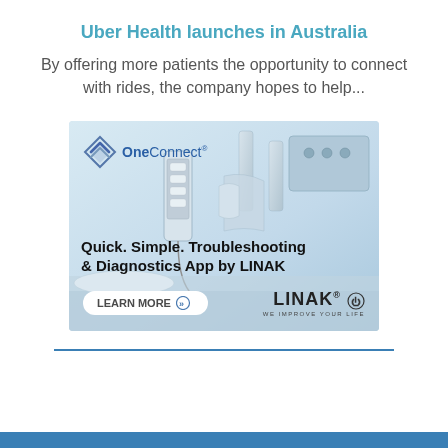Uber Health launches in Australia
By offering more patients the opportunity to connect with rides, the company hopes to help...
[Figure (illustration): LINAK OneConnect advertisement showing a hospital bed with a remote control device. Text reads: Quick. Simple. Troubleshooting & Diagnostics App by LINAK. Includes a Learn More button and LINAK WE IMPROVE YOUR LIFE logo.]